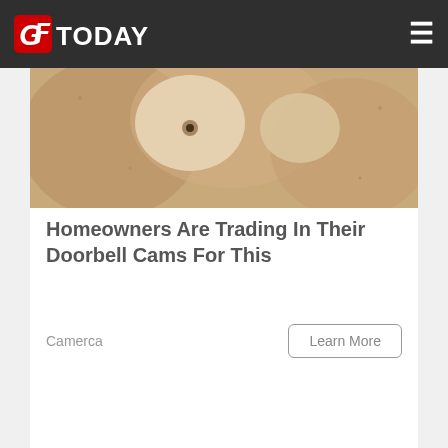GFToday
[Figure (photo): Close-up photo of a tan/beige colored security or doorbell camera device]
Homeowners Are Trading In Their Doorbell Cams For This
Camerca
Learn More